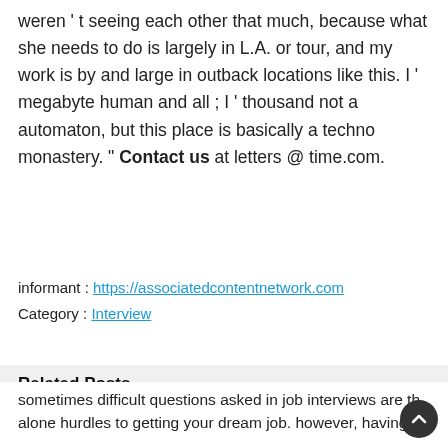weren ' t seeing each other that much, because what she needs to do is largely in L.A. or tour, and my work is by and large in outback locations like this. I ' megabyte human and all ; I ' thousand not a automaton, but this place is basically a techno monastery. " Contact us at letters @ time.com.
informant : https://associatedcontentnetwork.com
Category : Interview
Related Posts
[Figure (illustration): Colorful illustration with books and digital/tech elements on a dark blue/purple background]
Top 25 Reference Librarian Interview Questions and Answers in 2022 –...
Interview   June 24, 2022
sometimes difficult questions asked in job interviews are th alone hurdles to getting your dream job. however, having an